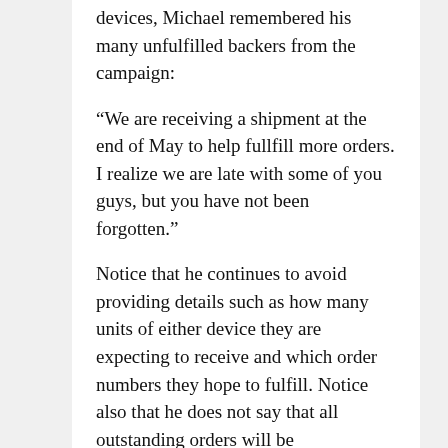devices, Michael remembered his many unfulfilled backers from the campaign:
“We are receiving a shipment at the end of May to help fullfill more orders. I realize we are late with some of you guys, but you have not been forgotten.”
Notice that he continues to avoid providing details such as how many units of either device they are expecting to receive and which order numbers they hope to fulfill. Notice also that he does not say that all outstanding orders will be